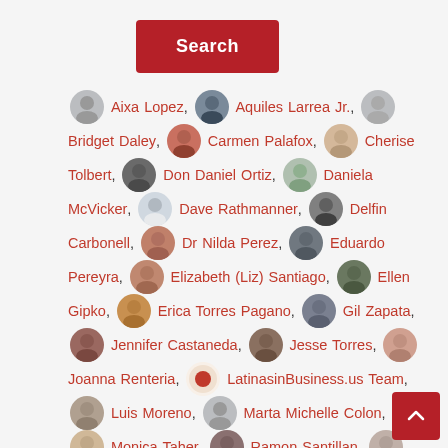[Figure (other): Red Search button]
Aixa Lopez, Aquiles Larrea Jr., Bridget Daley, Carmen Palafox, Cherise Tolbert, Don Daniel Ortiz, Daniela McVicker, Dave Rathmanner, Delfin Carbonell, Dr Nilda Perez, Eduardo Pereyra, Elizabeth (Liz) Santiago, Ellen Gipko, Erica Torres Pagano, Gil Zapata, Jennifer Castaneda, Jesse Torres, Joanna Renteria, LatinasinBusiness.us Team, Luis Moreno, Marta Michelle Colon, Monica Taher, Ramon Santillan, Rosa M. Mollo, Susana G Bauman, Susana G Baumann, Victoria Arene